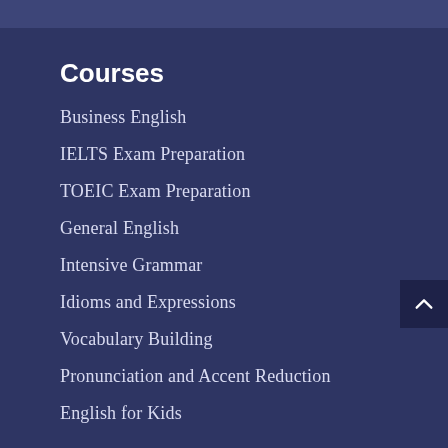Courses
Business English
IELTS Exam Preparation
TOEIC Exam Preparation
General English
Intensive Grammar
Idioms and Expressions
Vocabulary Building
Pronunciation and Accent Reduction
English for Kids